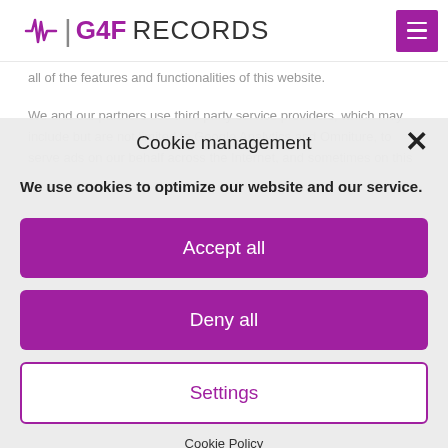[Figure (logo): G4F RECORDS logo with purple heartbeat/pulse icon on the left]
all of the features and functionalities of this website.
We and our partners use third party service providers, which may include but are not limited to Google Analytics and Omniture, to serve ads on our behalf across the Internet, and sometimes on this
Cookie management
We use cookies to optimize our website and our service.
Accept all
Deny all
Settings
Cookie Policy